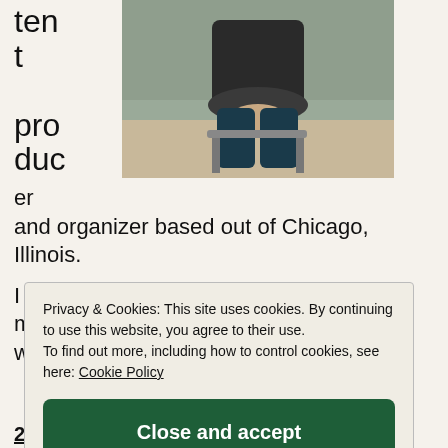tent producer
[Figure (photo): Person seated, wearing dark clothing, hands clasped on lap, viewed from torso down]
er
and organizer based out of Chicago, Illinois.
I specialize in political and progressive movement related media and messaging with an eye toward
Privacy & Cookies: This site uses cookies. By continuing to use this website, you agree to their use.
To find out more, including how to control cookies, see here: Cookie Policy
Close and accept
2019 Aldermanic Campaign